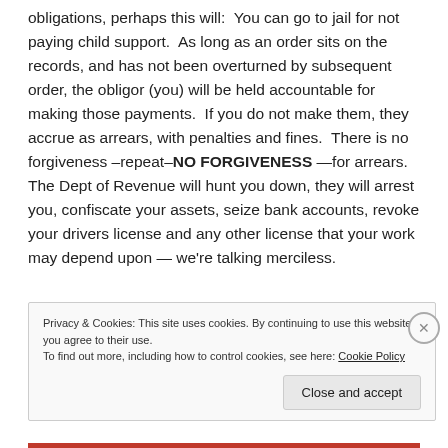obligations, perhaps this will:  You can go to jail for not paying child support.  As long as an order sits on the records, and has not been overturned by subsequent order, the obligor (you) will be held accountable for making those payments.  If you do not make them, they accrue as arrears, with penalties and fines.  There is no forgiveness –repeat–NO FORGIVENESS —for arrears.  The Dept of Revenue will hunt you down, they will arrest you, confiscate your assets, seize bank accounts, revoke your drivers license and any other license that your work may depend upon — we're talking merciless.
Privacy & Cookies: This site uses cookies. By continuing to use this website, you agree to their use.
To find out more, including how to control cookies, see here: Cookie Policy
Close and accept